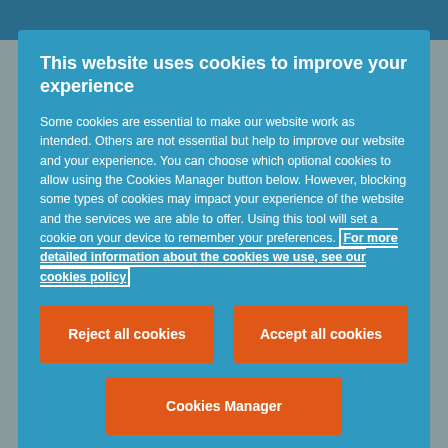This website uses cookies to improve your experience
Some cookies are essential to make our website work as intended. Others are not essential but help to improve our website and your experience. You can choose which optional cookies to allow using the Cookies Manager button below. However, blocking some types of cookies may impact your experience of the website and the services we are able to offer. Using this tool will set a cookie on your device to remember your preferences. For more detailed information about the cookies we use, see our cookies policy
urban dynamics
Learn more